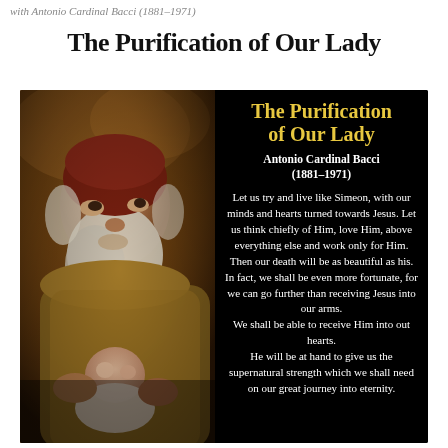with Antonio Cardinal Bacci (1881–1971)
The Purification of Our Lady
[Figure (illustration): A devotional card image on a black background. Left half shows a classical painting of an elderly bearded man (Simeon) holding an infant (Jesus), with rich golden-brown tones. Right half contains white and gold text with a quote from Antonio Cardinal Bacci about the Purification of Our Lady.]